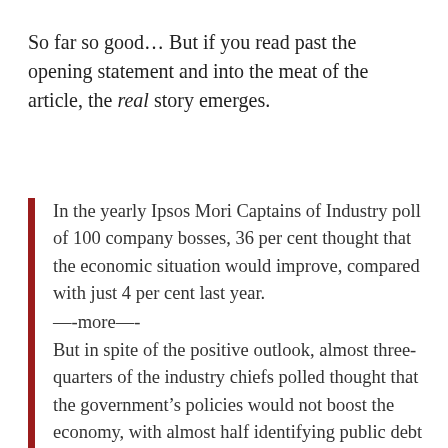So far so good… But if you read past the opening statement and into the meat of the article, the real story emerges.
In the yearly Ipsos Mori Captains of Industry poll of 100 company bosses, 36 per cent thought that the economic situation would improve, compared with just 4 per cent last year. —-more—-  But in spite of the positive outlook, almost three-quarters of the industry chiefs polled thought that the government's policies would not boost the economy, with almost half identifying public debt as the most important issue facing the UK. About 30 per cent felt the economy still had a way to fall, however, though that was a drop of